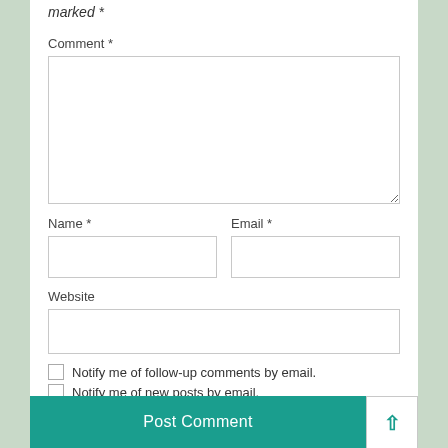marked *
Comment *
[Figure (other): Large comment text input box]
Name *
Email *
[Figure (other): Name text input box]
[Figure (other): Email text input box]
Website
[Figure (other): Website text input box]
Notify me of follow-up comments by email.
Notify me of new posts by email.
Post Comment